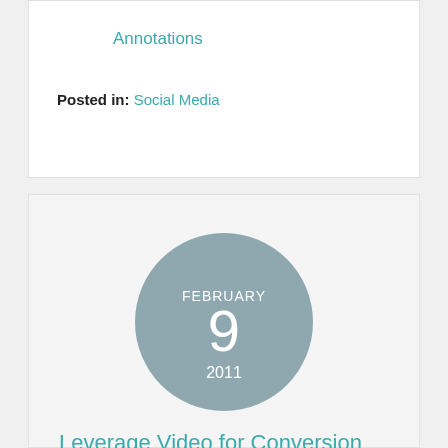Annotations
Posted in: Social Media
[Figure (infographic): A circular date badge with steel-blue background showing FEBRUARY / 9 / 2011 in white text]
Leverage Video for Conversion and SEO Benefits